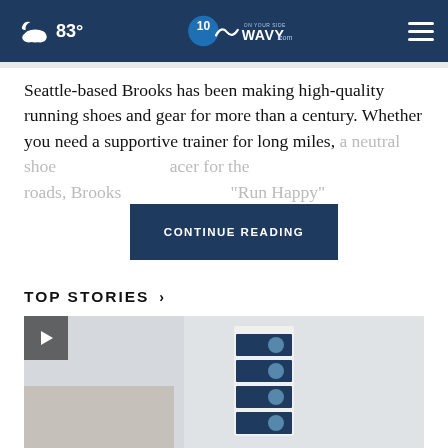☁ 83° | WAVY.com 10 On Your Side
Seattle-based Brooks has been making high-quality running shoes and gear for more than a century. Whether you need a supportive trainer for long miles, a neutral shoe [CONTINUE READING] racer for the roads, Brooks [CONTINUE READING] "Run Happy"
TOP STORIES ›
[Figure (photo): Thumbnail image of a wall-mounted device display rack with a play button overlay in the upper left corner]